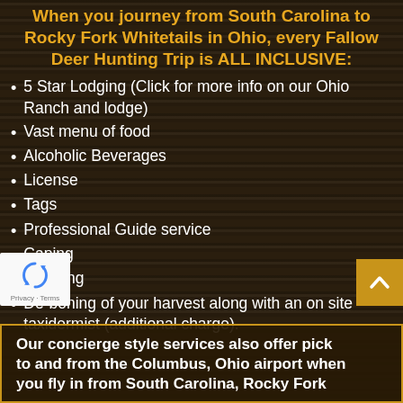When you journey from South Carolina to Rocky Fork Whitetails in Ohio, every Fallow Deer Hunting Trip is ALL INCLUSIVE:
5 Star Lodging (Click for more info on our Ohio Ranch and lodge)
Vast menu of food
Alcoholic Beverages
License
Tags
Professional Guide service
Caping
Skinning
De-boning of your harvest along with an on site taxidermist (additional charge).
Our concierge style services also offer pick to and from the Columbus, Ohio airport when you fly in from South Carolina, Rocky Fork